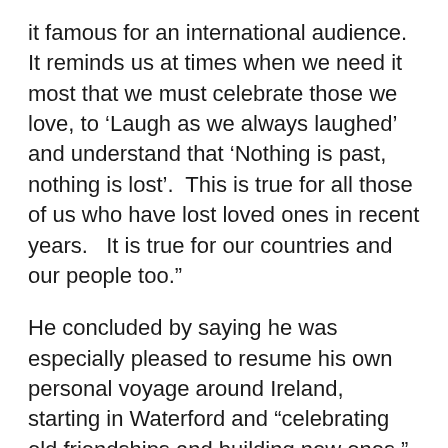it famous for an international audience.  It reminds us at times when we need it most that we must celebrate those we love, to ‘Laugh as we always laughed’ and understand that ‘Nothing is past, nothing is lost’.  This is true for all those of us who have lost loved ones in recent years.   It is true for our countries and our people too.”
He concluded by saying he was especially pleased to resume his own personal voyage around Ireland, starting in Waterford and “celebrating old friendships and building new ones.”